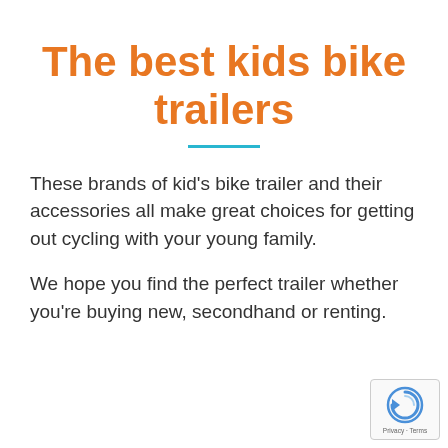The best kids bike trailers
These brands of kid's bike trailer and their accessories all make great choices for getting out cycling with your young family.
We hope you find the perfect trailer whether you're buying new, secondhand or renting.
[Figure (logo): reCAPTCHA badge with Privacy and Terms links]